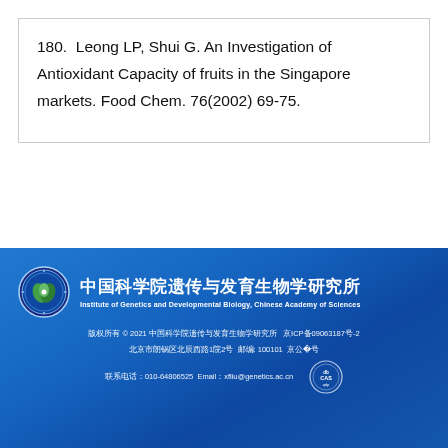180.  Leong LP, Shui G. An Investigation of Antioxidant Capacity of fruits in the Singapore markets. Food Chem. 76(2002) 69-75.
[Figure (logo): Institute of Genetics and Developmental Biology, Chinese Academy of Sciences institutional footer with logo, Chinese and English name, and contact information]